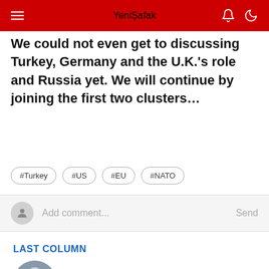Yeni Şafak
We could not even get to discussing Turkey, Germany and the U.K.'s role and Russia yet. We will continue by joining the first two clusters...
#Turkey
#US
#EU
#NATO
Add comment...
LAST COLUMN
Nedret Ersanel
Aug 24, 2022 Wednesday